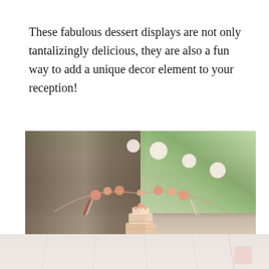These fabulous dessert displays are not only tantalizingly delicious, they are also a fun way to add a unique decor element to your reception!
[Figure (photo): Outdoor wedding dessert display under a large tree with a decorative floral arch hung with ribbons and paper lanterns, featuring a tiered cake on a table]